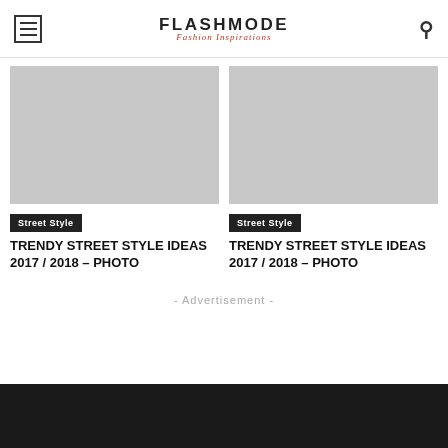FLASHMODE — Fashion Inspirations
[Figure (photo): Gray placeholder image for street style article, left column]
Street Style
TRENDY STREET STYLE IDEAS 2017 / 2018 – Photo
[Figure (photo): Gray placeholder image for street style article, right column]
Street Style
TRENDY STREET STYLE IDEAS 2017 / 2018 – Photo
- Advertisement -